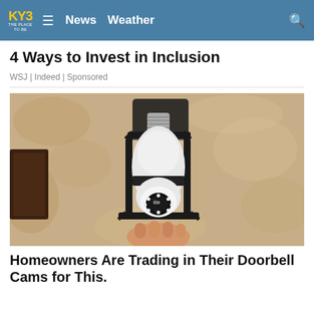KY3 THE PLACE TO BE  ≡  News  Weather
4 Ways to Invest in Inclusion
WSJ | Indeed | Sponsored
[Figure (photo): A security camera shaped like a light bulb installed in an outdoor wall lantern fixture, held by a hand. The wall is textured stucco in beige/tan tones.]
Homeowners Are Trading in Their Doorbell Cams for This.